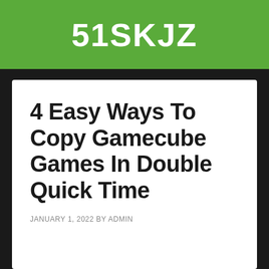51SKJZ
4 Easy Ways To Copy Gamecube Games In Double Quick Time
JANUARY 1, 2022 BY ADMIN